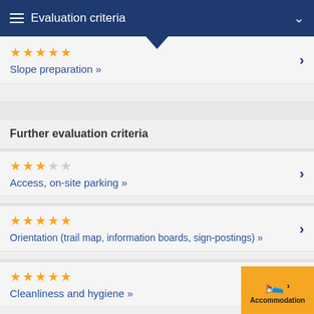Evaluation criteria
Slope preparation »
Further evaluation criteria
Access, on-site parking »
Orientation (trail map, information boards, sign-postings) »
Cleanliness and hygiene »
Environmentally friendly ski operation »